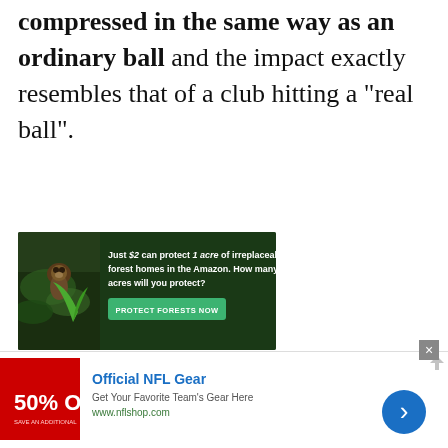compressed in the same way as an ordinary ball and the impact exactly resembles that of a club hitting a “real ball”.
[Figure (other): Advertisement banner: Just $2 can protect 1 acre of irreplaceable forest homes in the Amazon. How many acres will you protect? PROTECT FORESTS NOW]
[Figure (other): Advertisement banner: Official NFL Gear. Get Your Favorite Team's Gear Here. www.nflshop.com. 50% OFF shown on red background.]